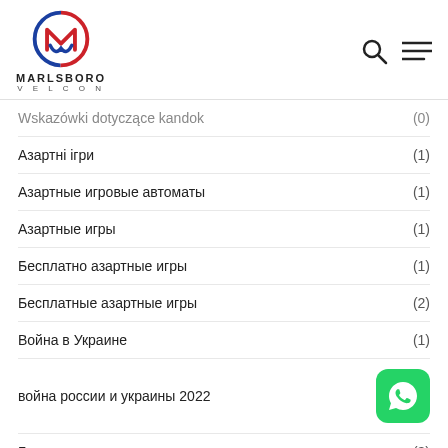MARLSBORO VELCON logo with search and menu icons
Wskazówki dotyczące kandok (0)
Азартні ігри (1)
Азартные игровые автоматы (1)
Азартные игры (1)
Бесплатно азартные игры (1)
Бесплатные азартные игры (2)
Война в Украине (1)
война россіи и украины 2022
Гра казино (3)